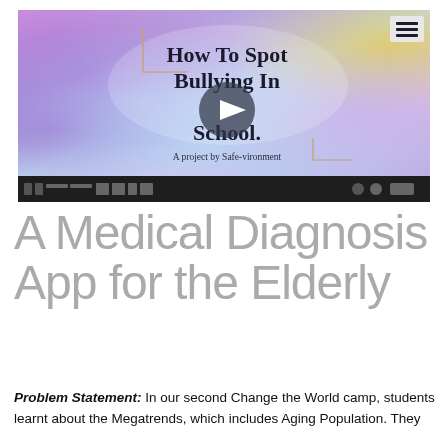[Figure (screenshot): Video thumbnail showing a watercolor-style background with text 'How To Spot Bullying In School' and 'A project by Safe-vironment', with a play button in the center and a video toolbar at the bottom. A hamburger menu icon appears in the top right.]
A Medical Diagnosis App for the Elderly
Problem Statement: In our second Change the World camp, students learnt about the Megatrends, which includes Aging Population. They